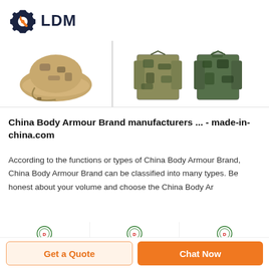[Figure (logo): LDM logo with gear icon and wrench]
[Figure (photo): Row of product images: camouflage hat, camouflage jackets in different patterns]
China Body Armour Brand manufacturers ... - made-in-china.com
According to the functions or types of China Body Armour Brand, China Body Armour Brand can be classified into many types. Be honest about your volume and choose the China Body Ar
[Figure (photo): Three product listings each with DEEKON brand logo (red circular badge) and product images below]
Get a Quote
Chat Now